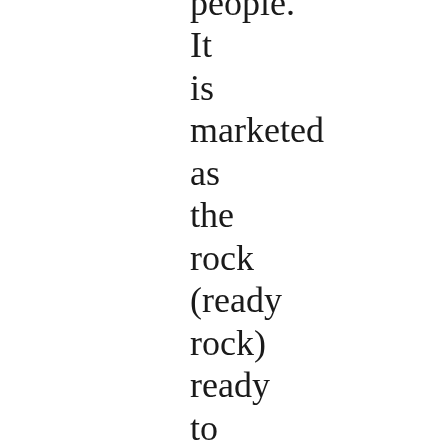people. It is marketed as the rock (ready rock) ready to smoke. Getting addicted is called